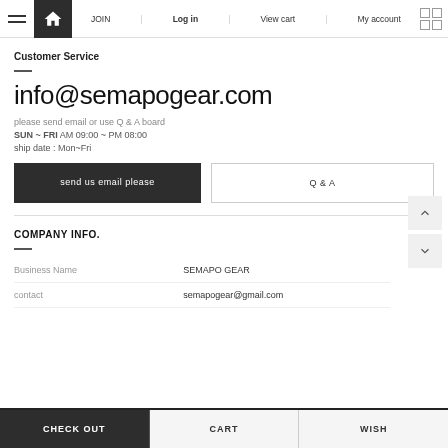JOIN | Log in | View cart | My account
Customer Service
info@semapogear.com
please send email or use Q & A board
SUN ~ FRI AM 09:00 ~ PM 08:00
ship date : Mon~Fri
send us email please
Q & A
COMPANY INFO.
|  |  |
| --- | --- |
| Business Name | SEMAPO GEAR |
| contact | semapogear@gmail.com |
CHECK OUT | CART | WISH